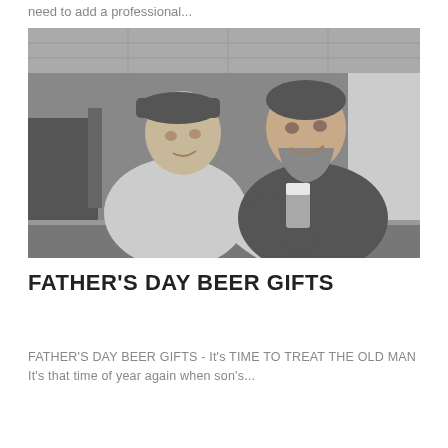need to add a professional...
[Figure (photo): Black and white photo of two men at a bar, an older man wearing a flat cap and a younger bearded man, both holding beer bottles and glasses, smiling at each other.]
FATHER'S DAY BEER GIFTS
FATHER'S DAY BEER GIFTS - It's TIME TO TREAT THE OLD MAN It's that time of year again when son's...